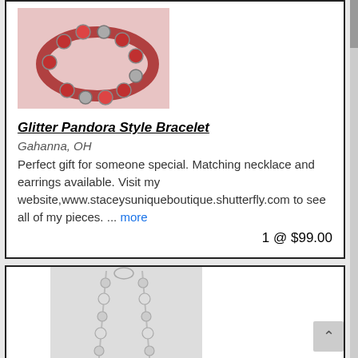[Figure (photo): Photo of a Pandora style bracelet with red and silver beads on a pink background]
Glitter Pandora Style Bracelet
Gahanna, OH
Perfect gift for someone special. Matching necklace and earrings available. Visit my website,www.staceysuniqueboutique.shutterfly.com to see all of my pieces. ... more
1 @ $99.00
[Figure (photo): Photo of a silver necklace with pearl-like beads on a light gray background]